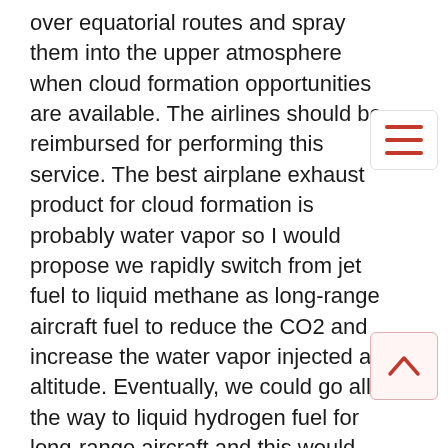over equatorial routes and spray them into the upper atmosphere when cloud formation opportunities are available. The airlines should be reimbursed for performing this service. The best airplane exhaust product for cloud formation is probably water vapor so I would propose we rapidly switch from jet fuel to liquid methane as long-range aircraft fuel to reduce the CO2 and increase the water vapor injected at altitude. Eventually, we could go all the way to liquid hydrogen fuel for long-range aircraft and this would maximize the water vapor injected at high altitudes over the equatorial regions. The location of cloud cover and the depth of the water vapor column (depth of the total water in the atmosphere